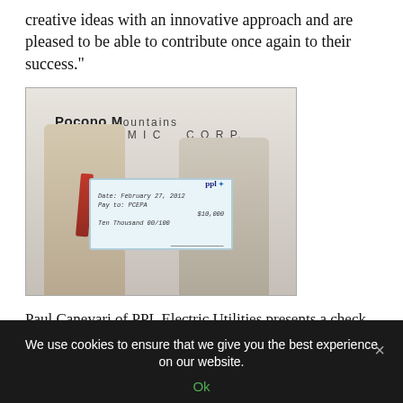creative ideas with an innovative approach and are pleased to be able to contribute once again to their success."
[Figure (photo): Two men in suits standing in front of a Pocono Mountains Economic Development Corporation sign, holding a large PPL check for $10,000 made out to PCEPA / Chuck Leonard.]
Paul Canevari of PPL Electric Utilities presents a check for $10,000 to Chuck Leonard, PMEDC Executive Director.
One of the projects was the creation of a Report Builder
We use cookies to ensure that we give you the best experience on our website.
Ok